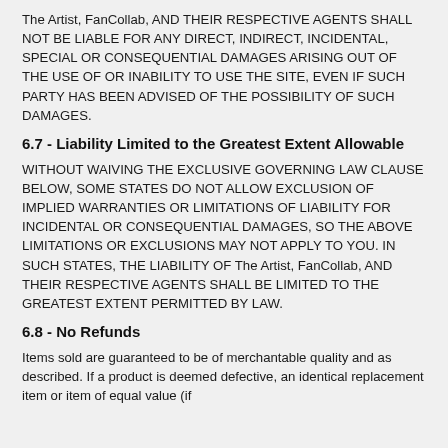The Artist, FanCollab, AND THEIR RESPECTIVE AGENTS SHALL NOT BE LIABLE FOR ANY DIRECT, INDIRECT, INCIDENTAL, SPECIAL OR CONSEQUENTIAL DAMAGES ARISING OUT OF THE USE OF OR INABILITY TO USE THE SITE, EVEN IF SUCH PARTY HAS BEEN ADVISED OF THE POSSIBILITY OF SUCH DAMAGES.
6.7 - Liability Limited to the Greatest Extent Allowable
WITHOUT WAIVING THE EXCLUSIVE GOVERNING LAW CLAUSE BELOW, SOME STATES DO NOT ALLOW EXCLUSION OF IMPLIED WARRANTIES OR LIMITATIONS OF LIABILITY FOR INCIDENTAL OR CONSEQUENTIAL DAMAGES, SO THE ABOVE LIMITATIONS OR EXCLUSIONS MAY NOT APPLY TO YOU. IN SUCH STATES, THE LIABILITY OF The Artist, FanCollab, AND THEIR RESPECTIVE AGENTS SHALL BE LIMITED TO THE GREATEST EXTENT PERMITTED BY LAW.
6.8 - No Refunds
Items sold are guaranteed to be of merchantable quality and as described. If a product is deemed defective, an identical replacement item or item of equal value (if